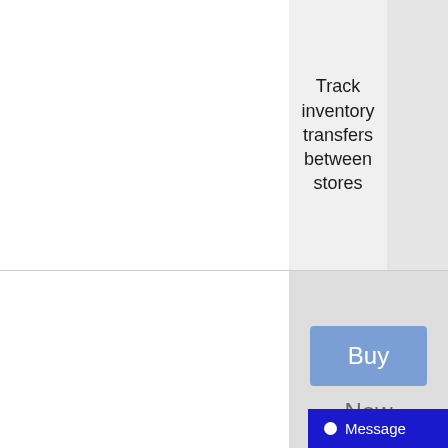Track inventory transfers between stores
Buy Now
QuickBooks Point of Sale Multi Store
Message